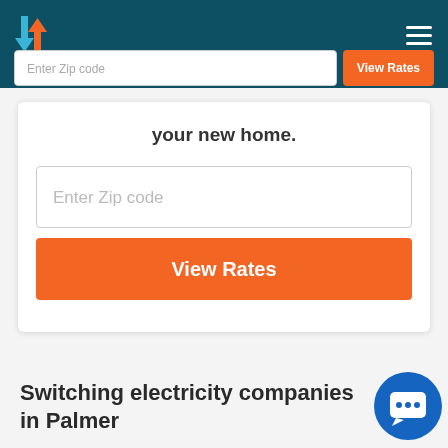Enter Zip code | View Rates
your new home.
Enter Zip code
View Rates
Switching electricity companies in Palmer